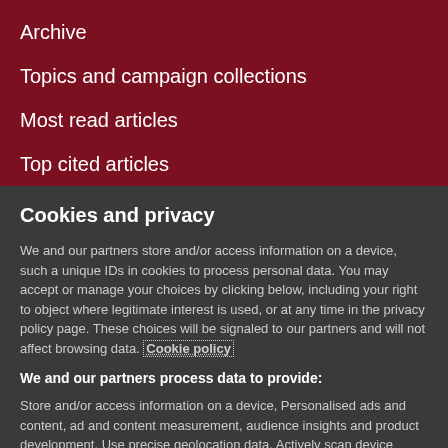Archive
Topics and campaign collections
Most read articles
Top cited articles
Cookies and privacy
We and our partners store and/or access information on a device, such a unique IDs in cookies to process personal data. You may accept or manage your choices by clicking below, including your right to object where legitimate interest is used, or at any time in the privacy policy page. These choices will be signaled to our partners and will not affect browsing data. Cookie policy
We and our partners process data to provide:
Store and/or access information on a device, Personalised ads and content, ad and content measurement, audience insights and product development, Use precise geolocation data, Actively scan device characteristics for identification
List of Partners (vendors)